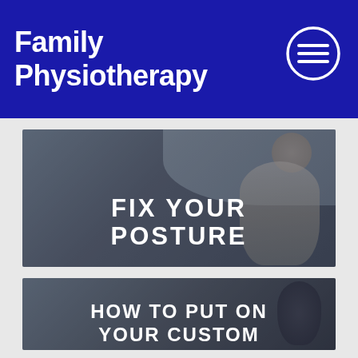Family Physiotherapy
[Figure (photo): Woman sitting on a bed holding her neck in pain, with dark overlay and text 'FIX YOUR POSTURE' overlaid in white bold uppercase letters]
[Figure (photo): Partially visible image with text 'HOW TO PUT ON YOUR CUSTOM' overlaid in white bold uppercase letters, showing a person in dark background]